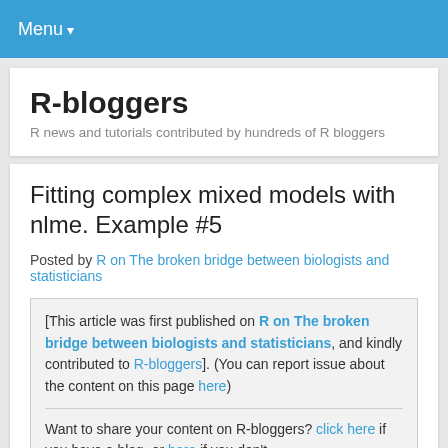Menu
R-bloggers
R news and tutorials contributed by hundreds of R bloggers
Fitting complex mixed models with nlme. Example #5
Posted by R on The broken bridge between biologists and statisticians
[This article was first published on R on The broken bridge between biologists and statisticians, and kindly contributed to R-bloggers]. (You can report issue about the content on this page here)

Want to share your content on R-bloggers? click here if you have a blog, or here if you don't.
[Figure (other): Social share buttons: Facebook (blue) and Twitter (light blue) with icons]